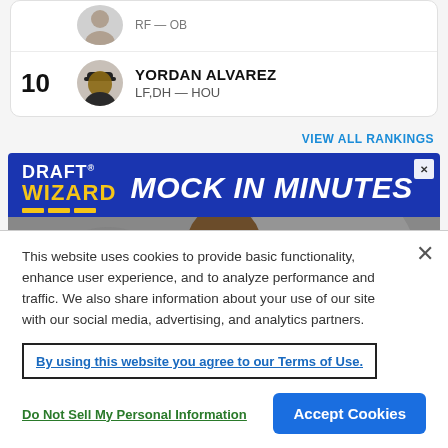[Figure (screenshot): Partial player card with avatar icon, showing RF-OB position text, partially cut at top]
10  YORDAN ALVAREZ  LF,DH — HOU
VIEW ALL RANKINGS
[Figure (photo): Draft Wizard advertisement banner with 'MOCK IN MINUTES' headline and athlete photo]
This website uses cookies to provide basic functionality, enhance user experience, and to analyze performance and traffic. We also share information about your use of our site with our social media, advertising, and analytics partners.
By using this website you agree to our Terms of Use.
Do Not Sell My Personal Information
Accept Cookies